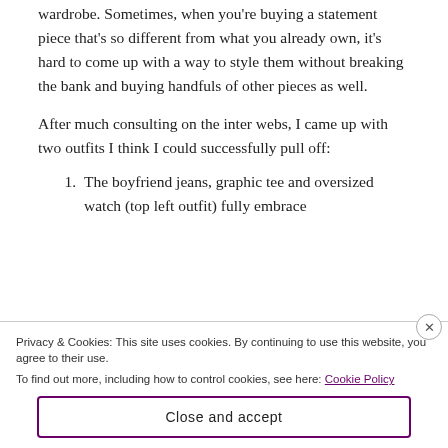wardrobe. Sometimes, when you're buying a statement piece that's so different from what you already own, it's hard to come up with a way to style them without breaking the bank and buying handfuls of other pieces as well.
After much consulting on the inter webs, I came up with two outfits I think I could successfully pull off:
The boyfriend jeans, graphic tee and oversized watch (top left outfit) fully embrace
Privacy & Cookies: This site uses cookies. By continuing to use this website, you agree to their use.
To find out more, including how to control cookies, see here: Cookie Policy
Close and accept